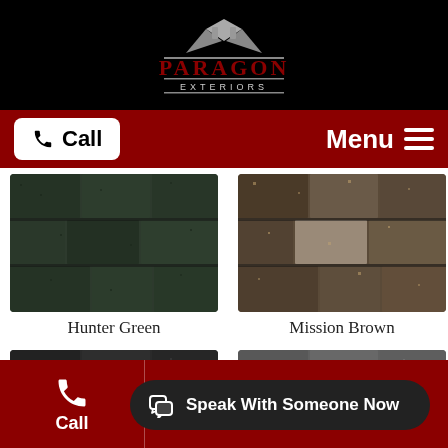[Figure (logo): Paragon Exteriors logo on black background with roof/house icon in grey and red text]
[Figure (screenshot): Navigation bar with white Call button (phone icon) on left and Menu hamburger on right, dark red background]
[Figure (photo): Shingle sample - Hunter Green color, dark green roof shingles close-up]
Hunter Green
[Figure (photo): Shingle sample - Mission Brown color, brown/tan roof shingles close-up]
Mission Brown
[Figure (photo): Shingle sample bottom left - dark grey/charcoal roof shingles close-up]
[Figure (photo): Shingle sample bottom right - medium grey roof shingles close-up]
[Figure (screenshot): Dark red footer bar with Call icon on left, two icons in center, and Speak With Someone Now chat bubble overlay]